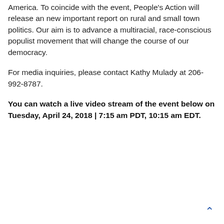America. To coincide with the event, People's Action will release an new important report on rural and small town politics. Our aim is to advance a multiracial, race-conscious populist movement that will change the course of our democracy.
For media inquiries, please contact Kathy Mulady at 206-992-8787.
You can watch a live video stream of the event below on Tuesday, April 24, 2018 | 7:15 am PDT, 10:15 am EDT.